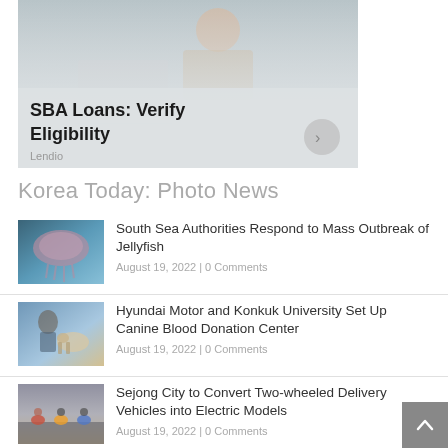[Figure (screenshot): Advertisement banner for Lendio – SBA Loans: Verify Eligibility. Shows woman at desk with laptop. Dark overlay text reads 'SBA Loans: Verify Eligibility' with a circular arrow button and 'Lendio' source label.]
Korea Today: Photo News
[Figure (photo): Thumbnail of jellyfish underwater for article about jellyfish outbreak.]
South Sea Authorities Respond to Mass Outbreak of Jellyfish
August 19, 2022 | 0 Comments
[Figure (photo): Thumbnail showing people with a dog at Hyundai Motor and Konkuk University canine blood donation center.]
Hyundai Motor and Konkuk University Set Up Canine Blood Donation Center
August 19, 2022 | 0 Comments
[Figure (photo): Thumbnail showing delivery riders on two-wheeled vehicles on a wet road.]
Sejong City to Convert Two-wheeled Delivery Vehicles into Electric Models
August 19, 2022 | 0 Comments